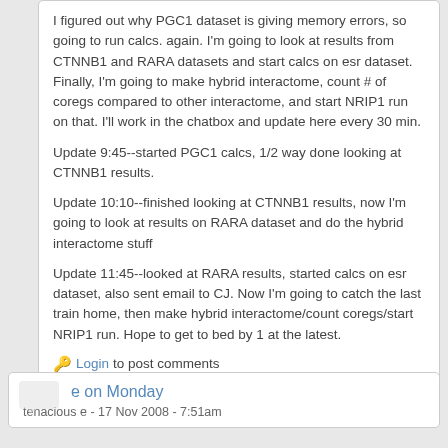I figured out why PGC1 dataset is giving memory errors, so going to run calcs. again. I'm going to look at results from CTNNB1 and RARA datasets and start calcs on esr dataset. Finally, I'm going to make hybrid interactome, count # of coregs compared to other interactome, and start NRIP1 run on that. I'll work in the chatbox and update here every 30 min.

Update 9:45--started PGC1 calcs, 1/2 way done looking at CTNNB1 results.

Update 10:10--finished looking at CTNNB1 results, now I'm going to look at results on RARA dataset and do the hybrid interactome stuff

Update 11:45--looked at RARA results, started calcs on esr dataset, also sent email to CJ. Now I'm going to catch the last train home, then make hybrid interactome/count coregs/start NRIP1 run. Hope to get to bed by 1 at the latest.
Login to post comments
e on Monday
tenacious e - 17 Nov 2008 - 7:51am